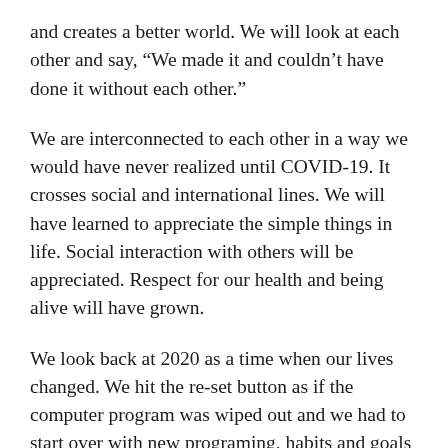and creates a better world. We will look at each other and say, “We made it and couldn’t have done it without each other.”
We are interconnected to each other in a way we would have never realized until COVID-19. It crosses social and international lines. We will have learned to appreciate the simple things in life. Social interaction with others will be appreciated. Respect for our health and being alive will have grown.
We look back at 2020 as a time when our lives changed. We hit the re-set button as if the computer program was wiped out and we had to start over with new programing, habits and goals for life. The rules and narrative changed. We will interact cautiously,